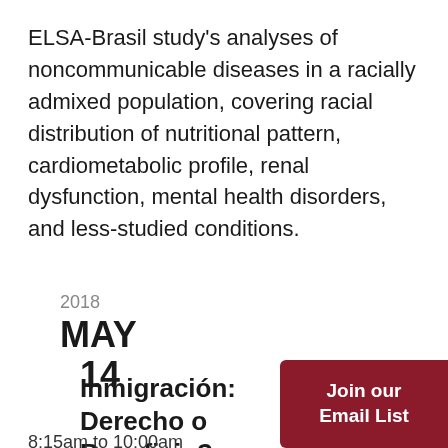ELSA-Brasil study's analyses of noncommunicable diseases in a racially admixed population, covering racial distribution of nutritional pattern, cardiometabolic profile, renal dysfunction, mental health disorders, and less-studied conditions.
2018
MAY
14
Inmigración: Derecho o Beneficio?
Join our Email List
8:15am to 10:00am